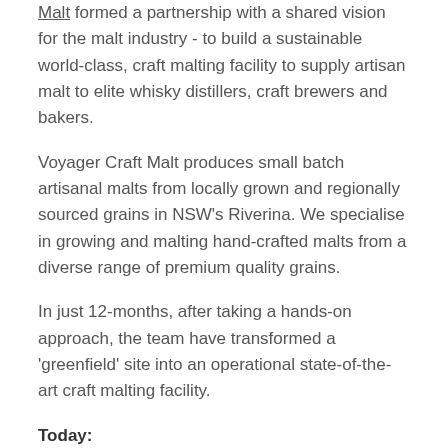Malt formed a partnership with a shared vision for the malt industry - to build a sustainable world-class, craft malting facility to supply artisan malt to elite whisky distillers, craft brewers and bakers.
Voyager Craft Malt produces small batch artisanal malts from locally grown and regionally sourced grains in NSW's Riverina. We specialise in growing and malting hand-crafted malts from a diverse range of premium quality grains.
In just 12-months, after taking a hands-on approach, the team have transformed a 'greenfield' site into an operational state-of-the-art craft malting facility.
Today:
Located adjacent to both of these businesses, the